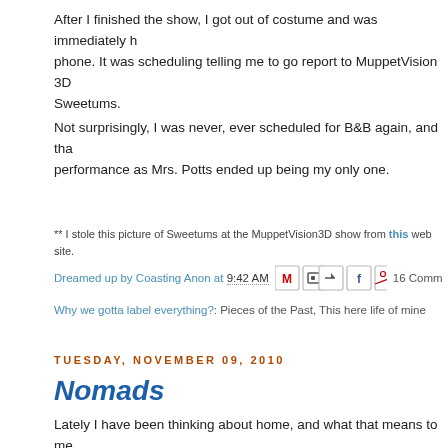After I finished the show, I got out of costume and was immediately hit with a phone. It was scheduling telling me to go report to MuppetVision 3D as Sweetums.
Not surprisingly, I was never, ever scheduled for B&B again, and that performance as Mrs. Potts ended up being my only one.
** I stole this picture of Sweetums at the MuppetVision3D show from this web site.
Dreamed up by Coasting Anon at 9:42 AM   16 Comm...
Why we gotta label everything?: Pieces of the Past, This here life of mine
TUESDAY, NOVEMBER 09, 2010
Nomads
Lately I have been thinking about home, and what that means to me. I grew up in a beautiful, coastal town in New Jersey (no, that is not an oxymoron). My brothers grew up in the town over from us. When I was a kid, my entire family on my mother's side lived within 10 miles of my home. Which